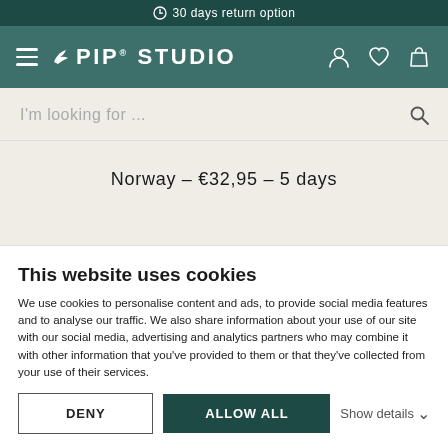30 days return option
PIP STUDIO
I'm looking for ...
Norway – €32,95 – 5 days
Ukraine – €32,95 – 5 days
This website uses cookies
We use cookies to personalise content and ads, to provide social media features and to analyse our traffic. We also share information about your use of our site with our social media, advertising and analytics partners who may combine it with other information that you've provided to them or that they've collected from your use of their services.
DENY
ALLOW ALL
Show details